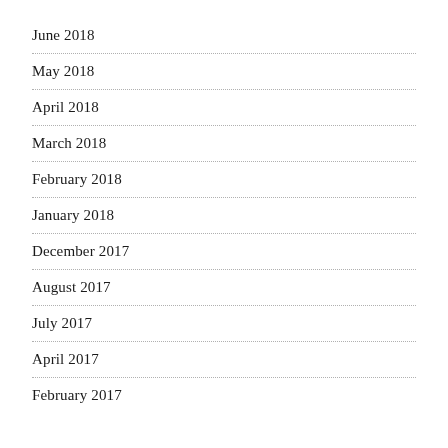June 2018
May 2018
April 2018
March 2018
February 2018
January 2018
December 2017
August 2017
July 2017
April 2017
February 2017